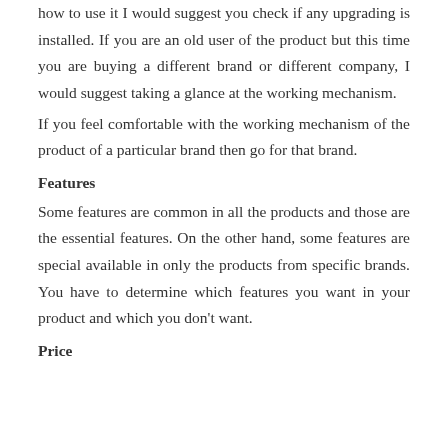how to use it I would suggest you check if any upgrading is installed. If you are an old user of the product but this time you are buying a different brand or different company, I would suggest taking a glance at the working mechanism.
If you feel comfortable with the working mechanism of the product of a particular brand then go for that brand.
Features
Some features are common in all the products and those are the essential features. On the other hand, some features are special available in only the products from specific brands. You have to determine which features you want in your product and which you don't want.
Price